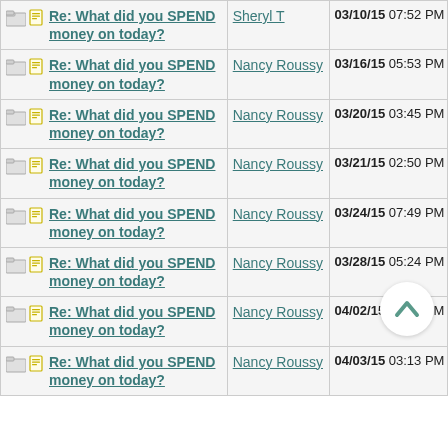| Topic | Author | Date |
| --- | --- | --- |
| Re: What did you SPEND money on today? | Sheryl T | 03/10/15 07:52 PM |
| Re: What did you SPEND money on today? | Nancy Roussy | 03/16/15 05:53 PM |
| Re: What did you SPEND money on today? | Nancy Roussy | 03/20/15 03:45 PM |
| Re: What did you SPEND money on today? | Nancy Roussy | 03/21/15 02:50 PM |
| Re: What did you SPEND money on today? | Nancy Roussy | 03/24/15 07:49 PM |
| Re: What did you SPEND money on today? | Nancy Roussy | 03/28/15 05:24 PM |
| Re: What did you SPEND money on today? | Nancy Roussy | 04/02/15 03:18 PM |
| Re: What did you SPEND money on today? | Nancy Roussy | 04/03/15 03:13 PM |